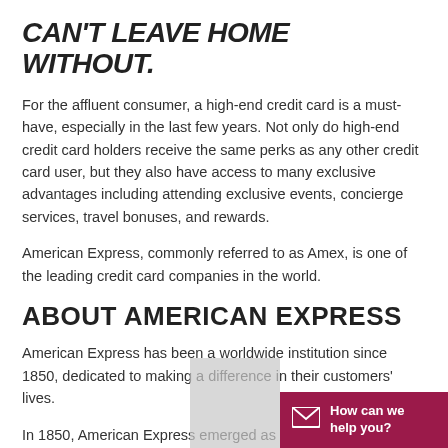CAN'T LEAVE HOME WITHOUT.
For the affluent consumer, a high-end credit card is a must-have, especially in the last few years. Not only do high-end credit card holders receive the same perks as any other credit card user, but they also have access to many exclusive advantages including attending exclusive events, concierge services, travel bonuses, and rewards.
American Express, commonly referred to as Amex, is one of the leading credit card companies in the world.
ABOUT AMERICAN EXPRESS
American Express has been a worldwide institution since 1850, dedicated to making a difference in their customers' lives.
In 1850, American Express emerged as a freig...